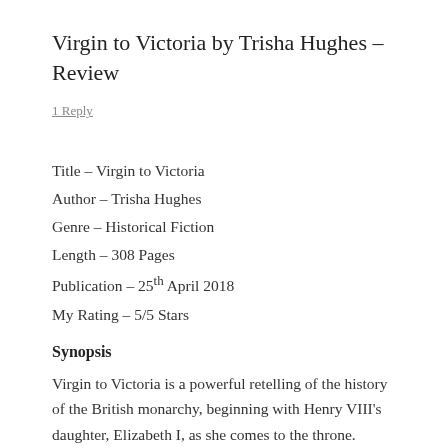Virgin to Victoria by Trisha Hughes – Review
1 Reply
Title – Virgin to Victoria
Author – Trisha Hughes
Genre – Historical Fiction
Length – 308 Pages
Publication – 25th April 2018
My Rating – 5/5 Stars
Synopsis
Virgin to Victoria is a powerful retelling of the history of the British monarchy, beginning with Henry VIII's daughter, Elizabeth I, as she comes to the throne. Charting Elizabeth's incredible journey, Virgin to Victoria travels in time through